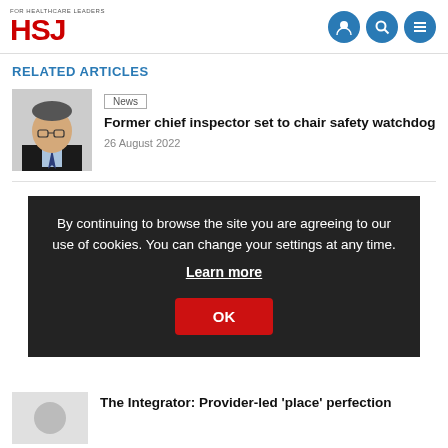[Figure (logo): HSJ - For Healthcare Leaders logo with red text and navigation icons]
RELATED ARTICLES
[Figure (photo): Headshot of a man in suit and glasses]
News
Former chief inspector set to chair safety watchdog
26 August 2022
By continuing to browse the site you are agreeing to our use of cookies. You can change your settings at any time. Learn more OK
The Integrator: Provider-led ‘place’ perfection